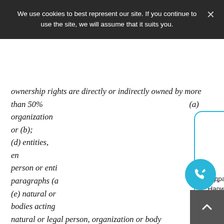We use cookies to best represent our site. If you continue to use the site, we will assume that it suits you.
ownership rights are directly or indirectly owned by more than 50% ... organization ... (a) or (b); (d) entities, entities ... person or entities ... paragraphs (a)... (e) natural or ... bodies acting on behalf of ... of a natural or legal person, organization or body referred to in paragraphs (a), (b), (c) or... As of July 5, 2022, it is prohibited to act as trustee, nominee, director, secretary, or similar position for a trust or similar legal arrangement as
[Figure (other): Chat popup with avatar photo of a woman named Vera, showing a greeting message in Russian and English.]